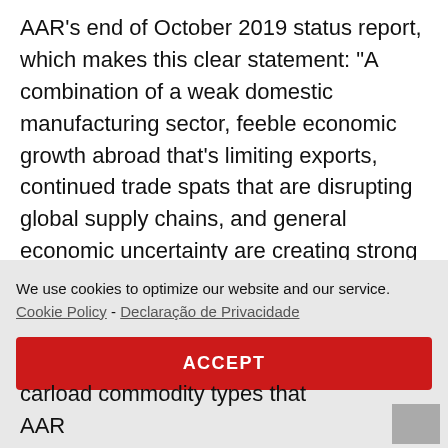AAR's end of October 2019 status report, which makes this clear statement: “A combination of a weak domestic manufacturing sector, feeble economic growth abroad that’s limiting exports, continued trade spats that are disrupting global supply chains, and general economic uncertainty are creating strong headwinds for U.S. rail
We use cookies to optimize our website and our service.  Cookie Policy -  Declaração de Privacidade
ACCEPT
carload commodity types that AAR